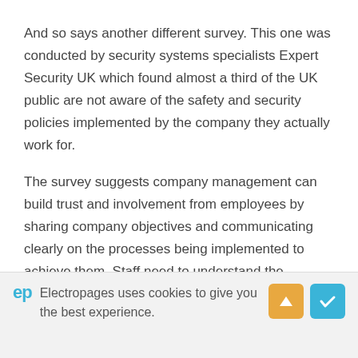And so says another different survey. This one was conducted by security systems specialists Expert Security UK which found almost a third of the UK public are not aware of the safety and security policies implemented by the company they actually work for.
The survey suggests company management can build trust and involvement from employees by sharing company objectives and communicating clearly on the processes being implemented to achieve them. Staff need to understand the importance of the procedures and how they protect their clients.
Transparency and communication with staff has already
Electropages uses cookies to give you the best experience.